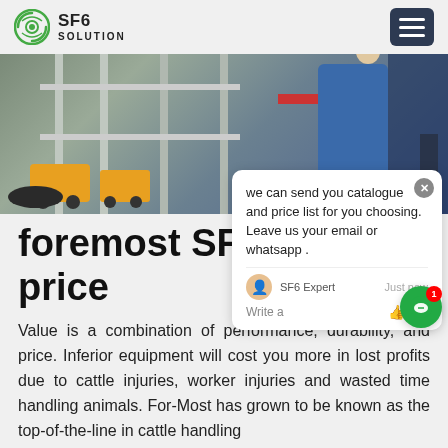SF6 SOLUTION
[Figure (photo): Industrial equipment photo with yellow machines and a worker in blue coveralls]
we can send you catalogue and price list for you choosing. Leave us your email or whatsapp .
foremost SF6 product price
Value is a combination of performance, durability, and price. Inferior equipment will cost you more in lost profits due to cattle injuries, worker injuries and wasted time handling animals. For-Most has grown to be known as the top-of-the-line in cattle handling